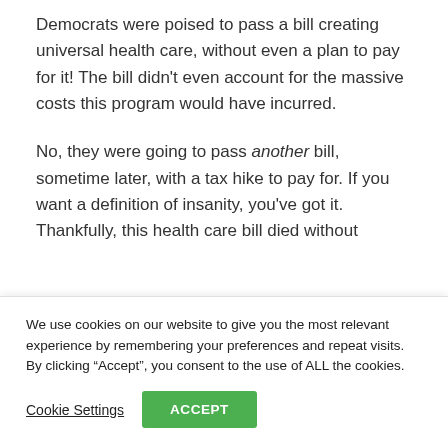Democrats were poised to pass a bill creating universal health care, without even a plan to pay for it! The bill didn't even account for the massive costs this program would have incurred.
No, they were going to pass another bill, sometime later, with a tax hike to pay for. If you want a definition of insanity, you've got it. Thankfully, this health care bill died without
We use cookies on our website to give you the most relevant experience by remembering your preferences and repeat visits. By clicking “Accept”, you consent to the use of ALL the cookies.
Cookie Settings
ACCEPT